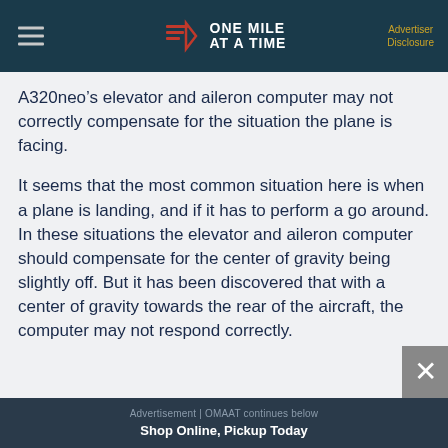ONE MILE AT A TIME | Advertiser Disclosure
A320neo’s elevator and aileron computer may not correctly compensate for the situation the plane is facing.
It seems that the most common situation here is when a plane is landing, and if it has to perform a go around. In these situations the elevator and aileron computer should compensate for the center of gravity being slightly off. But it has been discovered that with a center of gravity towards the rear of the aircraft, the computer may not respond correctly.
Advertisement | OMAAT continues below
Shop Online, Pickup Today